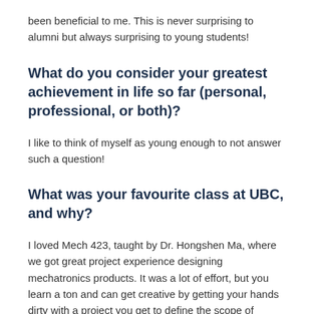been beneficial to me. This is never surprising to alumni but always surprising to young students!
What do you consider your greatest achievement in life so far (personal, professional, or both)?
I like to think of myself as young enough to not answer such a question!
What was your favourite class at UBC, and why?
I loved Mech 423, taught by Dr. Hongshen Ma, where we got great project experience designing mechatronics products. It was a lot of effort, but you learn a ton and can get creative by getting your hands dirty with a project you get to define the scope of yourself.
I also audited MECH 520, Control Sensors and